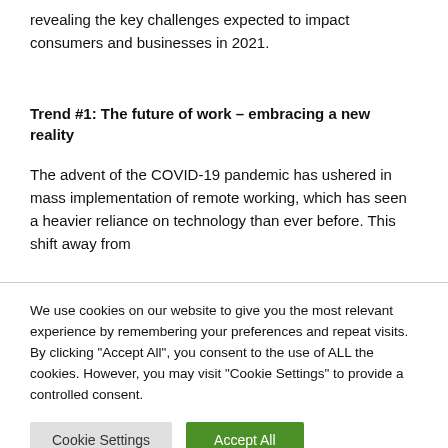revealing the key challenges expected to impact consumers and businesses in 2021.
Trend #1: The future of work – embracing a new reality
The advent of the COVID-19 pandemic has ushered in mass implementation of remote working, which has seen a heavier reliance on technology than ever before. This shift away from
We use cookies on our website to give you the most relevant experience by remembering your preferences and repeat visits. By clicking "Accept All", you consent to the use of ALL the cookies. However, you may visit "Cookie Settings" to provide a controlled consent.